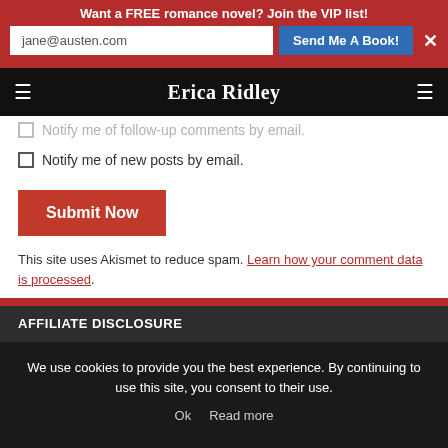Want a FREE romance novel? Join the VIP list!
Erica Ridley
Notify me of follow-up comments by email.
Notify me of new posts by email.
Submit Now
This site uses Akismet to reduce spam. Learn how your comment data is processed.
AFFILIATE DISCLOSURE
We use cookies to provide you the best experience. By continuing to use this site, you consent to their use.
Ok   Read more